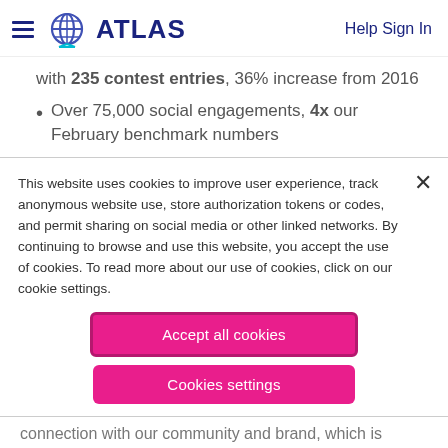ATLAS   Help Sign In
with 235 contest entries, 36% increase from 2016
Over 75,000 social engagements, 4x our February benchmark numbers
This website uses cookies to improve user experience, track anonymous website use, store authorization tokens or codes, and permit sharing on social media or other linked networks. By continuing to browse and use this website, you accept the use of cookies. To read more about our use of cookies, click on our cookie settings.
Accept all cookies
Cookies settings
connection with our community and brand, which is